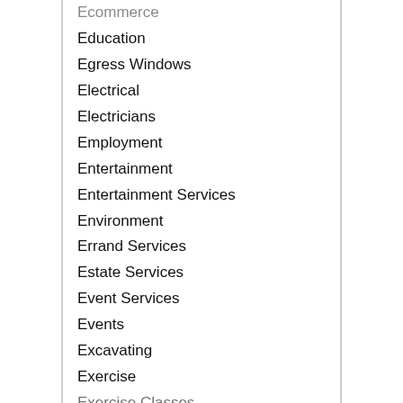Ecommerce
Education
Egress Windows
Electrical
Electricians
Employment
Entertainment
Entertainment Services
Environment
Errand Services
Estate Services
Event Services
Events
Excavating
Exercise
Exercise Classes